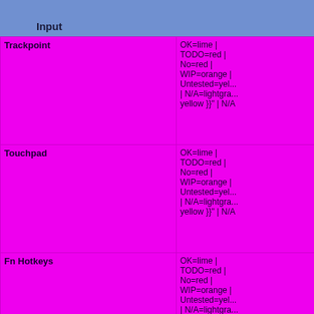Input
| Feature | Status |
| --- | --- |
| Trackpoint | OK=lime | TODO=red | No=red | WIP=orange | Untested=yellow | N/A=lightgray yellow }}" | N/A |
| Touchpad | OK=lime | TODO=red | No=red | WIP=orange | Untested=yellow | N/A=lightgray yellow }}" | N/A |
| Fn Hotkeys | OK=lime | TODO=red | No=red | WIP=orange | Untested=yellow | N/A=lightgray yellow }}" | N/A |
| Fingerprint Reader | OK=lime | |